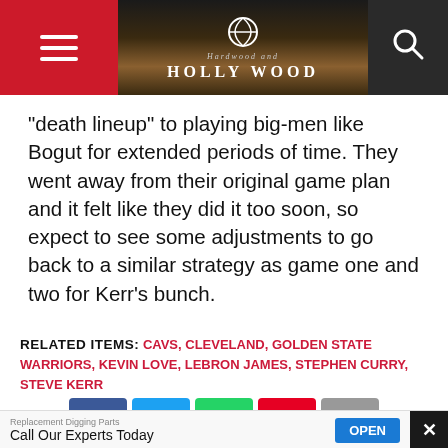Hardwood and Hollywood — navigation header with hamburger menu, logo, and search icon
“death lineup” to playing big-men like Bogut for extended periods of time. They went away from their original game plan and it felt like they did it too soon, so expect to see some adjustments to go back to a similar strategy as game one and two for Kerr’s bunch.
RELATED ITEMS: CAVS, CLEVELAND, GOLDEN STATE WARRIORS, KEVIN LOVE, LEBRON JAMES, STEPHEN CURRY, STEVE KERR
[Figure (other): Social sharing buttons: Facebook, Twitter, WhatsApp, Pinterest, Email]
[Figure (other): Advertisement banner: Replacement Digging Parts - Call Our Experts Today - OPEN button]